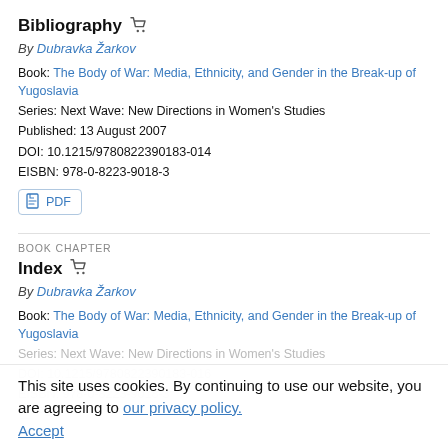Bibliography
By Dubravka Žarkov
Book: The Body of War: Media, Ethnicity, and Gender in the Break-up of Yugoslavia
Series: Next Wave: New Directions in Women's Studies
Published: 13 August 2007
DOI: 10.1215/9780822390183-014
EISBN: 978-0-8223-9018-3
PDF
BOOK CHAPTER
Index
By Dubravka Žarkov
Book: The Body of War: Media, Ethnicity, and Gender in the Break-up of Yugoslavia
Series: Next Wave: New Directions in Women's Studies
DOI: 10.1215/9780822390183-016
EISBN: 978-0-8223-9018-3
PDF
This site uses cookies. By continuing to use our website, you are agreeing to our privacy policy. Accept